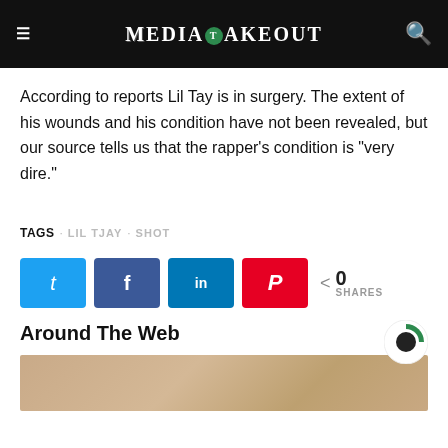MediaTakeOut
According to reports Lil Tay is in surgery. The extent of his wounds and his condition have not been revealed, but our source tells us that the rapper’s condition is “very dire.”
TAGS · LIL TJAY · SHOT
[Figure (infographic): Social sharing buttons: Twitter (blue), Facebook (dark blue), LinkedIn (blue), Pinterest (red), and share count showing 0 SHARES]
Around The Web
[Figure (photo): Partial thumbnail image at the bottom of the page, showing what appears to be a person's head/shoulder area]